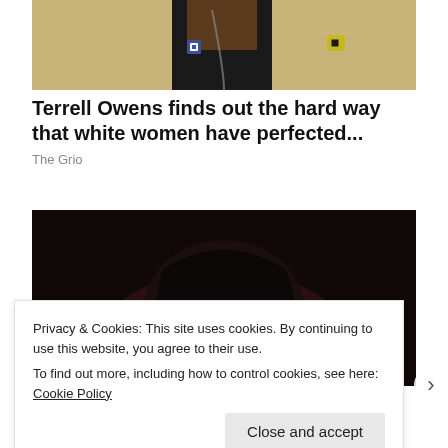[Figure (photo): Close-up of a man in a tan/gold blazer with a black shirt and chain necklace, wearing pins on the lapel]
Terrell Owens finds out the hard way that white women have perfected...
The Grio
[Figure (photo): Dark photo of a woman with dark hair pulled back, face partially visible against a dark background]
Privacy & Cookies: This site uses cookies. By continuing to use this website, you agree to their use.
To find out more, including how to control cookies, see here: Cookie Policy
Close and accept